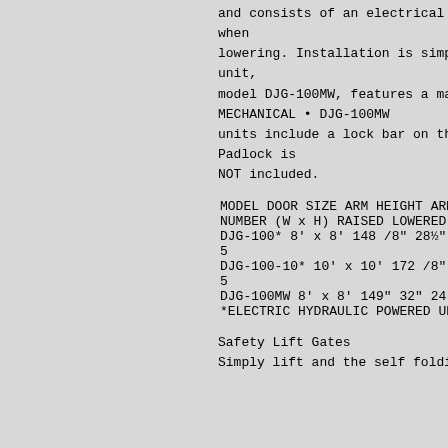and consists of an electrical bumper-style when lowering. Installation is simple: anchor the unit, model DJG-100MW, features a manual hand cra MECHANICAL • DJG-100MW units include a lock bar on the arm post to Padlock is NOT included.
| MODEL NUMBER | DOOR SIZE (W x H) | ARM HEIGHT RAISED | ARM HEIGHT LOWERED | OVERA (W x L) | (POUNDS) |
| --- | --- | --- | --- | --- | --- |
| DJG-100* | 8' x 8' | 148 /8" | 28½" | 24" x 130⅝" | 7 5 |
| DJG-100-10* | 10' x 10' | 172 /8" | 28½" | 24" x 154 | 5 |
| DJG-100MW | 8' x 8' | 149" | 32" | 24" x 133¼" | 539 |
*ELECTRIC HYDRAULIC POWERED UNITS ELECTRIC
Safety Lift Gates
Simply lift and the self folding action fo